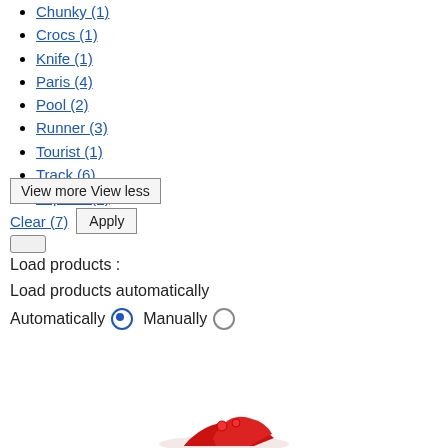Chunky (1)
Crocs (1)
Knife (1)
Paris (4)
Pool (2)
Runner (3)
Tourist (1)
Track (6)
Triple S (2)
View more View less
Clear (7)  Apply
Load products :
Load products automatically
Automatically  Manually
[Figure (photo): Partial image of red shoes at the bottom of the page]